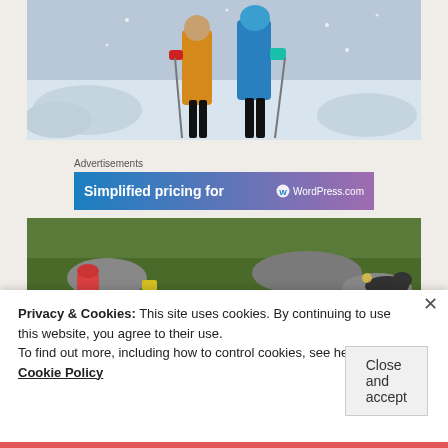[Figure (photo): Two people in winter gear holding ski poles, standing in snow]
Advertisements
[Figure (other): Advertisement banner: Simplified pricing for WordPress.com]
[Figure (photo): Outdoor scene with green grass, rocks, and what appears to be a person lying down with a red bag nearby]
Privacy & Cookies: This site uses cookies. By continuing to use this website, you agree to their use.
To find out more, including how to control cookies, see here:
Cookie Policy
Close and accept